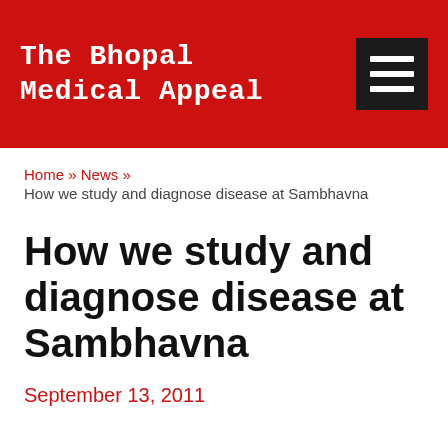The Bhopal Medical Appeal
Home » News »
How we study and diagnose disease at Sambhavna
How we study and diagnose disease at Sambhavna
September 13, 2011